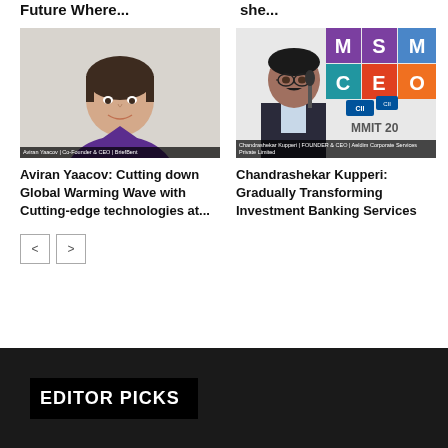Future Where...
she...
[Figure (photo): Portrait photo of Aviran Yaacov, Co-Founder & CEO of BriefBent, a young man with dark hair wearing a purple shirt, smiling]
[Figure (photo): Photo of Chandrashekar Kupperi, FOUNDER & CEO of Aeldim Corporate Services Private Limited, speaking at MSME CEO Summit]
Aviran Yaacov: Cutting down Global Warming Wave with Cutting-edge technologies at...
Chandrashekar Kupperi: Gradually Transforming Investment Banking Services
< >
EDITOR PICKS